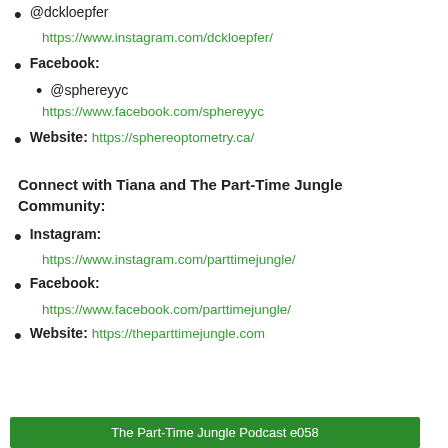@dckloepfer
https://www.instagram.com/dckloepfer/
Facebook: @sphereyyc
https://www.facebook.com/sphereyyc
Website: https://sphereoptometry.ca/
Connect with Tiana and The Part-Time Jungle Community:
Instagram: https://www.instagram.com/parttimejungle/
Facebook: https://www.facebook.com/parttimejungle/
Website: https://theparttimejungle.com
The Part-Time Jungle Podcast e058